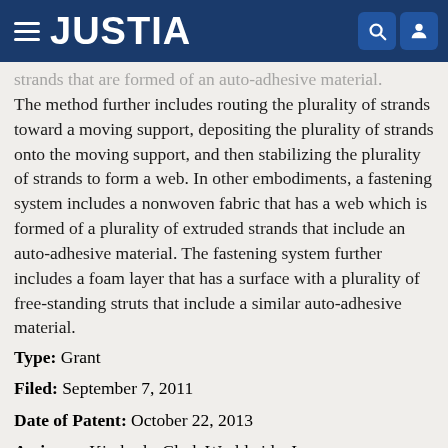JUSTIA
strands that are formed of an auto-adhesive material. The method further includes routing the plurality of strands toward a moving support, depositing the plurality of strands onto the moving support, and then stabilizing the plurality of strands to form a web. In other embodiments, a fastening system includes a nonwoven fabric that has a web which is formed of a plurality of extruded strands that include an auto-adhesive material. The fastening system further includes a foam layer that has a surface with a plurality of free-standing struts that include a similar auto-adhesive material.
Type: Grant
Filed: September 7, 2011
Date of Patent: October 22, 2013
Assignee: Kimberly-Clark Worldwide, Inc.
Inventors: Nadezhda V. Efremova, Bruce M. Siebers, Lisha Yu, Christian L. Sanders, Gary D. Williams, Nicholas